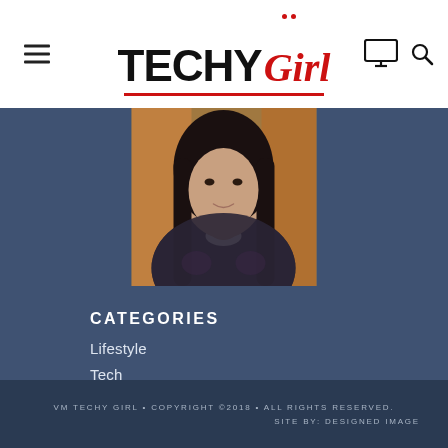TECHY Girl — website header with navigation menu, logo, monitor icon, and search icon
[Figure (photo): Portrait photo of a woman with long dark hair wearing a dark lace jacket with white collar, shown from shoulders up against a warm background]
CATEGORIES
Lifestyle
Tech
Video
VM TECHY GIRL • COPYRIGHT ©2018 • ALL RIGHTS RESERVED. SITE BY: DESIGNED IMAGE